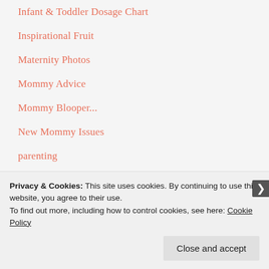Infant & Toddler Dosage Chart
Inspirational Fruit
Maternity Photos
Mommy Advice
Mommy Blooper...
New Mommy Issues
parenting
Potty Training
Second Trimester
Sleep Training
Teething
Privacy & Cookies: This site uses cookies. By continuing to use this website, you agree to their use.
To find out more, including how to control cookies, see here: Cookie Policy
Close and accept